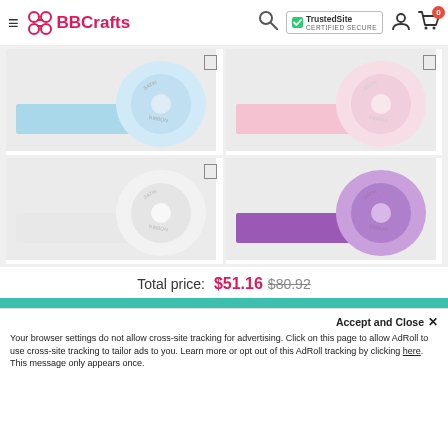BBCrafts — TrustedSite Certified Secure
[Figure (photo): Baby blue grosgrain ribbon roll]
[Figure (photo): Baby pink grosgrain ribbon roll]
[Figure (photo): White grosgrain ribbon roll]
[Figure (photo): Purple grosgrain ribbon roll]
Total price: $51.16  $80.92
Accept and Close ✕
Your browser settings do not allow cross-site tracking for advertising. Click on this page to allow AdRoll to use cross-site tracking to tailor ads to you. Learn more or opt out of this AdRoll tracking by clicking here. This message only appears once.